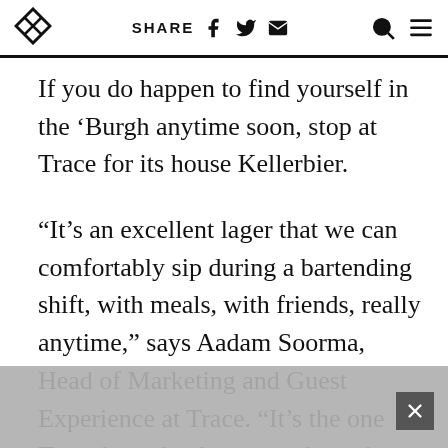SHARE [facebook] [twitter] [email] [search] [menu]
If you do happen to find yourself in the ‘Burgh anytime soon, stop at Trace for its house Kellerbier.
“It’s an excellent lager that we can comfortably sip during a bartending shift, with meals, with friends, really anytime,” says Aadam Soorma, Head of Marketing and Guest Experience at Trace. “It’s the one Trace beer that has gone through my body more than anything else we’ve